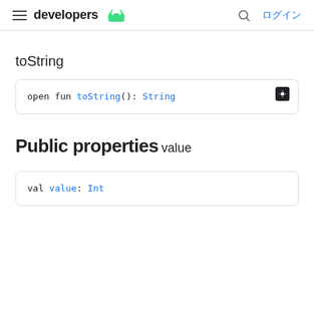developers  ログイン
toString
[Figure (screenshot): Code block showing: open fun toString(): String with a dark mode toggle button]
Public properties
value
[Figure (screenshot): Code block showing: val value: Int]